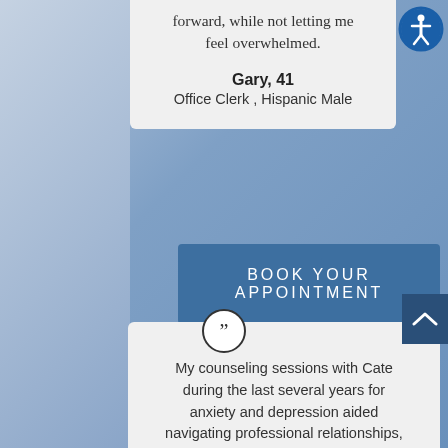forward, while not letting me feel overwhelmed.
Gary, 41
Office Clerk , Hispanic Male
BOOK YOUR APPOINTMENT
My counseling sessions with Cate during the last several years for anxiety and depression aided navigating professional relationships, life decision points, stresses and health issues. Her professional